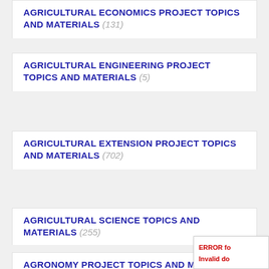AGRICULTURAL ECONOMICS PROJECT TOPICS AND MATERIALS (131)
AGRICULTURAL ENGINEERING PROJECT TOPICS AND MATERIALS (5)
AGRICULTURAL EXTENSION PROJECT TOPICS AND MATERIALS (702)
AGRICULTURAL SCIENCE TOPICS AND MATERIALS (255)
AGRONOMY PROJECT TOPICS AND MATERIALS (5)
ERROR for Invalid do